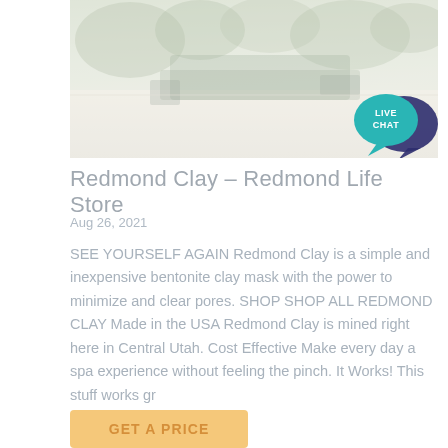[Figure (photo): Outdoor photo of heavy machinery/equipment at a mining or construction site with light sandy ground and green vegetation in background. Image appears faded/light.]
Redmond Clay – Redmond Life Store
Aug 26, 2021
SEE YOURSELF AGAIN Redmond Clay is a simple and inexpensive bentonite clay mask with the power to minimize and clear pores. SHOP SHOP ALL REDMOND CLAY Made in the USA Redmond Clay is mined right here in Central Utah. Cost Effective Make every day a spa experience without feeling the pinch. It Works! This stuff works gr